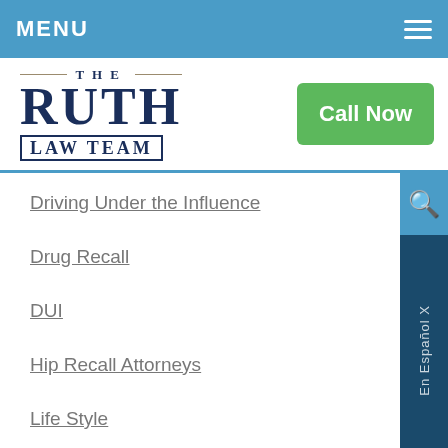MENU
[Figure (logo): The Ruth Law Team logo with 'Call Now' button]
Driving Under the Influence
Drug Recall
DUI
Hip Recall Attorneys
Life Style
Medical Malpractice
Motorcycle Accident